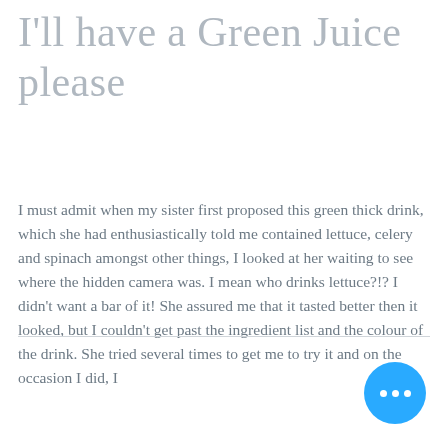I'll have a Green Juice please
I must admit when my sister first proposed this green thick drink, which she had enthusiastically told me contained lettuce, celery and spinach amongst other things, I looked at her waiting to see where the hidden camera was. I mean who drinks lettuce?!? I didn't want a bar of it! She assured me that it tasted better then it looked, but I couldn't get past the ingredient list and the colour of the drink. She tried several times to get me to try it and on the occasion I did, I